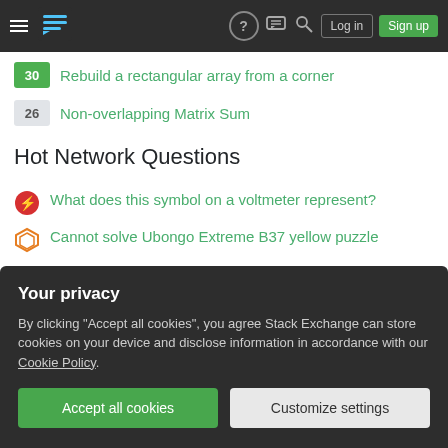Stack Exchange navigation bar with hamburger, logo, help, chat, search, Log in, Sign up
30 Rebuild a rectangular array from a corner
26 Non-overlapping Matrix Sum
Hot Network Questions
What does this symbol on a voltmeter represent?
Cannot solve Ubongo Extreme B37 yellow puzzle
The second even sublime number
Is there any procedure or rule that prevents the President from nominating any person as Secretary of State?
A three-way switch that keeps state with the other switch
Your privacy
By clicking "Accept all cookies", you agree Stack Exchange can store cookies on your device and disclose information in accordance with our Cookie Policy.
Accept all cookies   Customize settings